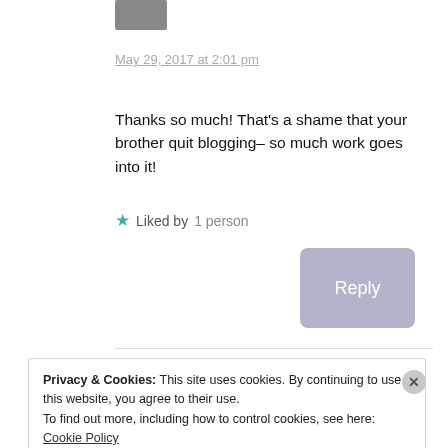[Figure (photo): Small avatar/profile image thumbnail in top left area]
May 29, 2017 at 2:01 pm
Thanks so much! That's a shame that your brother quit blogging– so much work goes into it!
★ Liked by 1 person
Reply
Privacy & Cookies: This site uses cookies. By continuing to use this website, you agree to their use.
To find out more, including how to control cookies, see here: Cookie Policy
Close and accept